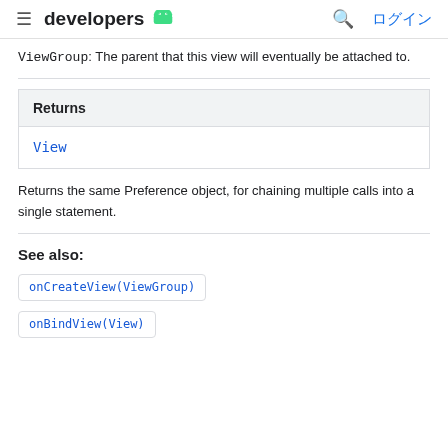developers ログイン
ViewGroup: The parent that this view will eventually be attached to.
| Returns |
| --- |
| View |
Returns the same Preference object, for chaining multiple calls into a single statement.
See also:
onCreateView(ViewGroup)
onBindView(View)